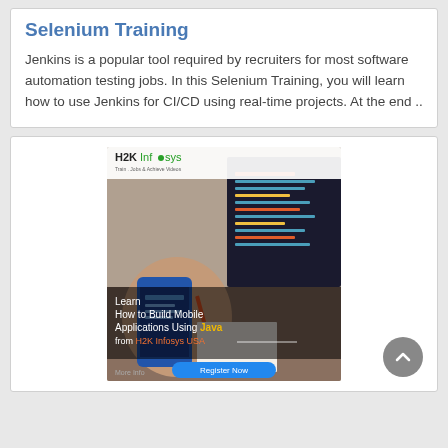Selenium Training
Jenkins is a popular tool required by recruiters for most software automation testing jobs. In this Selenium Training, you will learn how to use Jenkins for CI/CD using real-time projects. At the end ..
[Figure (photo): H2K Infosys advertisement showing a person holding a smartphone while someone works on a laptop with code. Text overlay reads: Learn How to Build Mobile Applications Using Java from H2K Infosys USA. Register Now button visible. More Info text at bottom.]